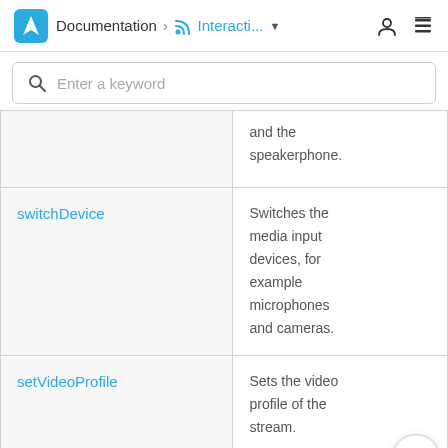Documentation > Interacti...
Enter a keyword
|  |  |
| --- | --- |
|  | and the speakerphone. |
| switchDevice | Switches the media input devices, for example microphones and cameras. |
| setVideoProfile | Sets the video profile of the stream. |
|  | Customizes |